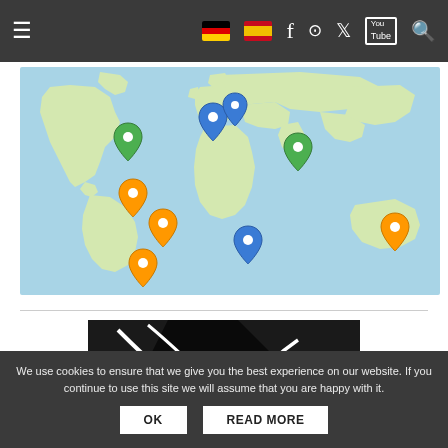Navigation bar with hamburger menu, German flag, Spanish flag, Facebook, Instagram, Twitter, YouTube, Search icons
[Figure (map): World map with colored location pins (blue, green, orange) marking various countries across the Americas, Europe, Africa, and Australia]
[Figure (photo): Close-up black and white photo of motorcycle or bicycle parts with cables/wires]
We use cookies to ensure that we give you the best experience on our website. If you continue to use this site we will assume that you are happy with it.
OK | READ MORE